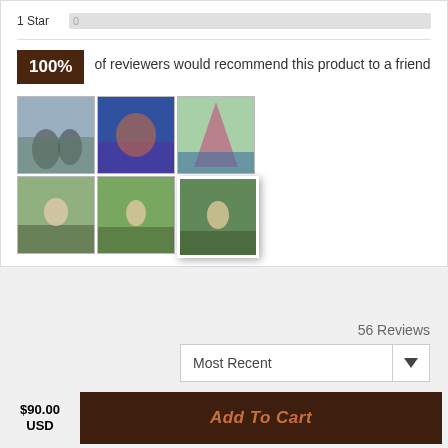1 Star   0
100% of reviewers would recommend this product to a friend
[Figure (photo): Grid of 6 festival/event photos showing people at outdoor events]
56 Reviews
Most Recent
$90.00 USD
Add To Cart